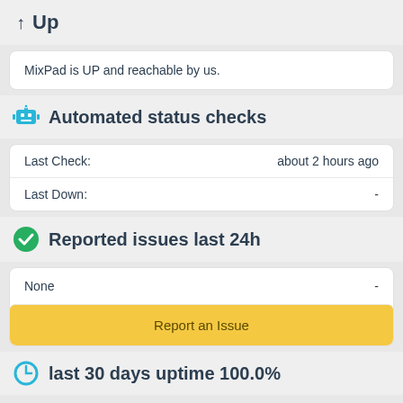↑ Up
MixPad is UP and reachable by us.
🤖 Automated status checks
|  |  |
| --- | --- |
| Last Check: | about 2 hours ago |
| Last Down: | - |
✅ Reported issues last 24h
|  |  |
| --- | --- |
| None | - |
Report an Issue
last 30 days uptime 100.0%